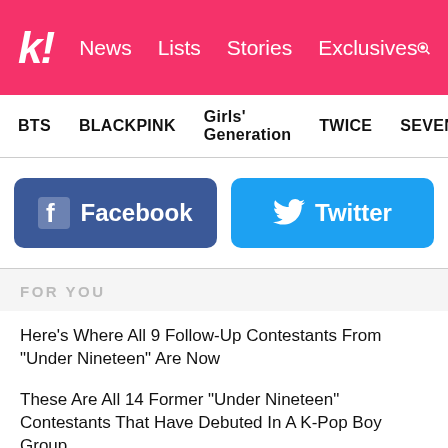k! News Lists Stories Exclusives
BTS   BLACKPINK   Girls' Generation   TWICE   SEVENTEEN
[Figure (infographic): Facebook and Twitter social share buttons]
FOR YOU
Here's Where All 9 Follow-Up Contestants From "Under Nineteen" Are Now
These Are All 14 Former "Under Nineteen" Contestants That Have Debuted In A K-Pop Boy Group
K-Pop Backup Dancer And "Single's Inferno" Star Cha Hyun Seung Gets Mistaken For Jay Park